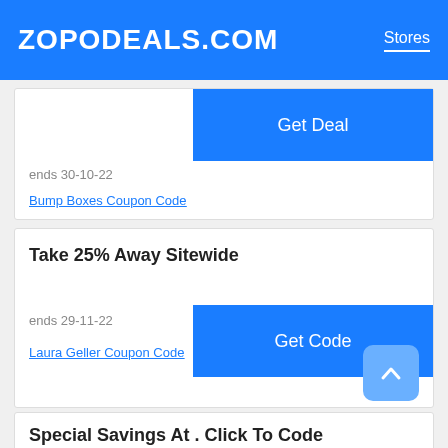ZOPODEALS.COM | Stores
ends 30-10-22
Get Deal
Bump Boxes Coupon Code
Take 25% Away Sitewide
Get Code
ends 29-11-22
Laura Geller Coupon Code
Special Savings At . Click To Code
Get Code
ends 29-11-22